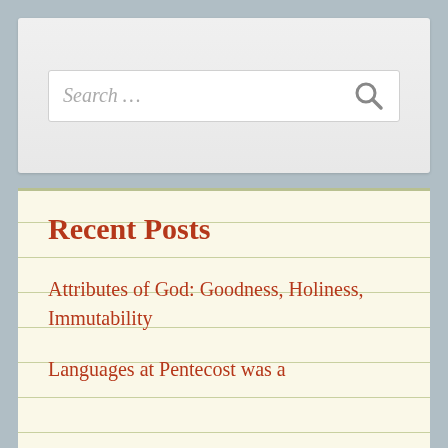[Figure (screenshot): Search box with placeholder text 'Search ...' and a magnifying glass icon on the right]
Recent Posts
Attributes of God: Goodness, Holiness, Immutability
Languages at Pentecost was a